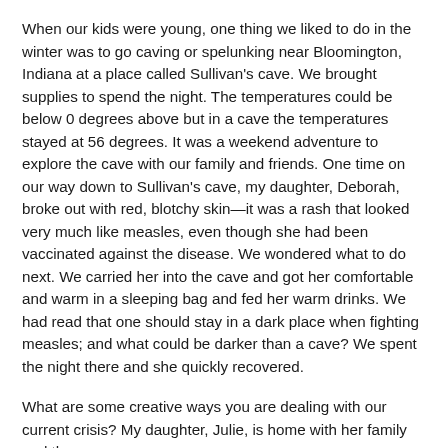When our kids were young, one thing we liked to do in the winter was to go caving or spelunking near Bloomington, Indiana at a place called Sullivan's cave. We brought supplies to spend the night. The temperatures could be below 0 degrees above but in a cave the temperatures stayed at 56 degrees. It was a weekend adventure to explore the cave with our family and friends. One time on our way down to Sullivan's cave, my daughter, Deborah, broke out with red, blotchy skin—it was a rash that looked very much like measles, even though she had been vaccinated against the disease. We wondered what to do next. We carried her into the cave and got her comfortable and warm in a sleeping bag and fed her warm drinks. We had read that one should stay in a dark place when fighting measles; and what could be darker than a cave? We spent the night there and she quickly recovered.
What are some creative ways you are dealing with our current crisis? My daughter, Julie, is home with her family and they are